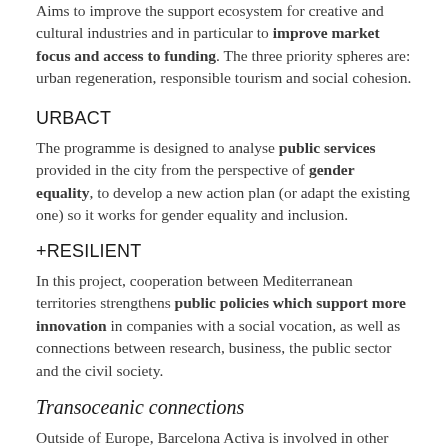Aims to improve the support ecosystem for creative and cultural industries and in particular to improve market focus and access to funding. The three priority spheres are: urban regeneration, responsible tourism and social cohesion.
URBACT
The programme is designed to analyse public services provided in the city from the perspective of gender equality, to develop a new action plan (or adapt the existing one) so it works for gender equality and inclusion.
+RESILIENT
In this project, cooperation between Mediterranean territories strengthens public policies which support more innovation in companies with a social vocation, as well as connections between research, business, the public sector and the civil society.
Transoceanic connections
Outside of Europe, Barcelona Activa is involved in other transoceanic collaboration with countries and regions. Examples include Japan, where exchanges have been